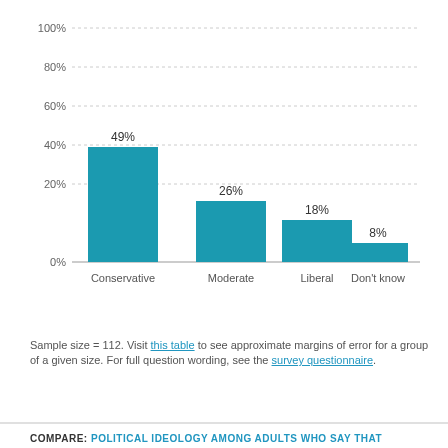[Figure (bar-chart): ]
Sample size = 112. Visit this table to see approximate margins of error for a group of a given size. For full question wording, see the survey questionnaire.
COMPARE: POLITICAL IDEOLOGY AMONG ADULTS WHO SAY THAT